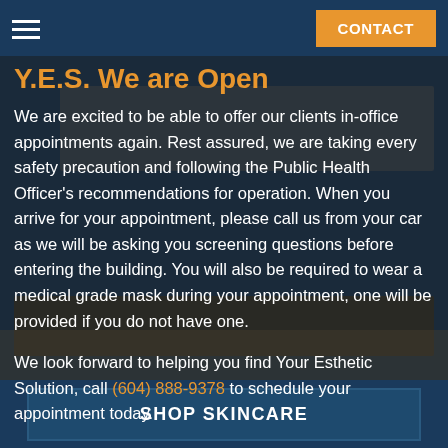CONTACT
Y.E.S. We are Open
We are excited to be able to offer our clients in-office appointments again. Rest assured, we are taking every safety precaution and following the Public Health Officer's recommendations for operation. When you arrive for your appointment, please call us from your car as we will be asking you screening questions before entering the building. You will also be required to wear a medical grade mask during your appointment, one will be provided if you do not have one.
We look forward to helping you find Your Esthetic Solution, call (604) 888-9378 to schedule your appointment today.
SHOP SKINCARE